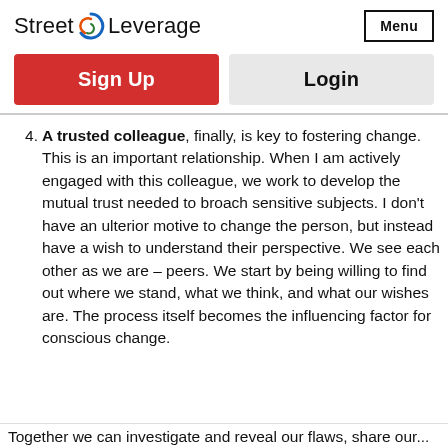Street Leverage
Sign Up
Login
4. A trusted colleague, finally, is key to fostering change. This is an important relationship. When I am actively engaged with this colleague, we work to develop the mutual trust needed to broach sensitive subjects. I don't have an ulterior motive to change the person, but instead have a wish to understand their perspective. We see each other as we are – peers. We start by being willing to find out where we stand, what we think, and what our wishes are. The process itself becomes the influencing factor for conscious change.
Together we can investigate and reveal our flaws, share our...